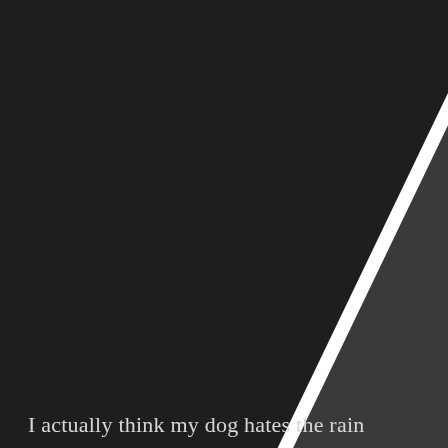[Figure (illustration): A warning triangle icon (exclamation mark inside a triangle) partially visible in the upper right corner of the image, dark background with white outline and white exclamation mark symbol.]
I actually think my dog hates the rain